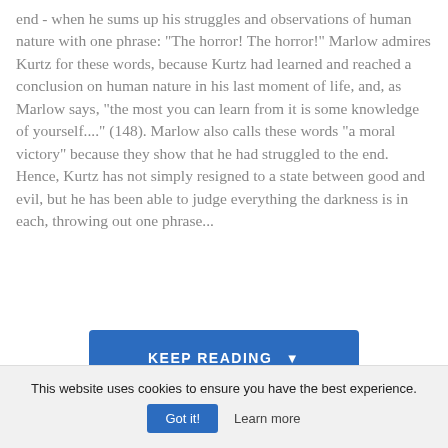end - when he sums up his struggles and observations of human nature with one phrase: "The horror! The horror!" Marlow admires Kurtz for these words, because Kurtz had learned and reached a conclusion on human nature in his last moment of life, and, as Marlow says, "the most you can learn from it is some knowledge of yourself...." (148). Marlow also calls these words "a moral victory" because they show that he had struggled to the end. Hence, Kurtz has not simply resigned to a state between good and evil, but he has been able to judge everything the darkness is in each, throwing out one phrase...
[Figure (other): A blue 'KEEP READING' button with a downward arrow, overlaying the text content]
This website uses cookies to ensure you have the best experience.
Got it!  Learn more